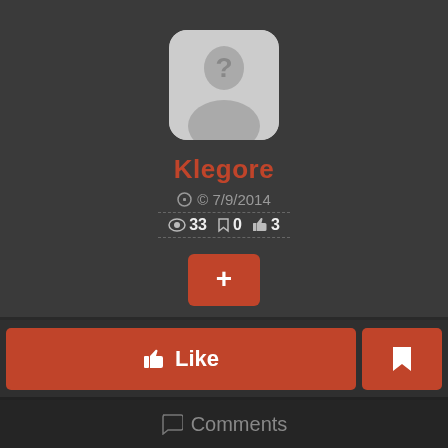[Figure (illustration): User avatar placeholder with question mark silhouette on grey rounded square background]
Klegore
© 7/9/2014  👁 33  🏷 0  👍 3
[Figure (infographic): Red rounded rectangle button with white plus (+) sign]
👍 Like
[Figure (infographic): Red square button with white bookmark icon]
💬 Comments